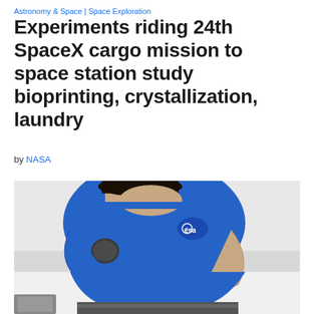Astronomy & Space | Space Exploration
Experiments riding 24th SpaceX cargo mission to space station study bioprinting, crystallization, laundry
by NASA
[Figure (photo): A person wearing a blue ESA-branded t-shirt leaning over and working with equipment, possibly a scientific instrument or mechanical device, in what appears to be a lab or training facility.]